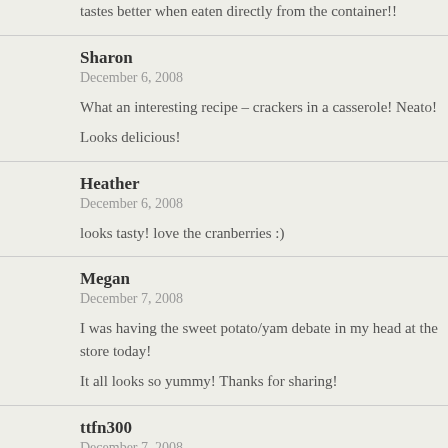tastes better when eaten directly from the container!!
Sharon
December 6, 2008

What an interesting recipe – crackers in a casserole! Neato!

Looks delicious!
Heather
December 6, 2008

looks tasty! love the cranberries :)
Megan
December 7, 2008

I was having the sweet potato/yam debate in my head at the store today!

It all looks so yummy! Thanks for sharing!
ttfn300
December 7, 2008